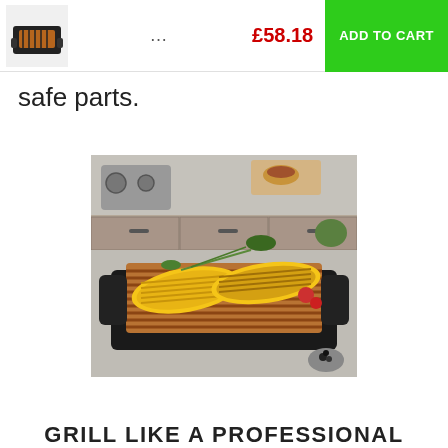... £58.18 ADD TO CART
safe parts.
[Figure (photo): Electric grill with copper grill plate, topped with grilled corn cobs and herbs, on a kitchen countertop background]
GRILL LIKE A PROFESSIONAL